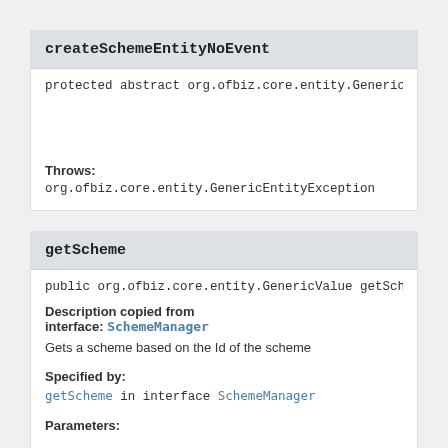createSchemeEntityNoEvent
protected abstract org.ofbiz.core.entity.GenericV
Throws:
org.ofbiz.core.entity.GenericEntityException
getScheme
public org.ofbiz.core.entity.GenericValue getSche
Description copied from interface: SchemeManager
Gets a scheme based on the Id of the scheme
Specified by:
getScheme in interface SchemeManager
Parameters: